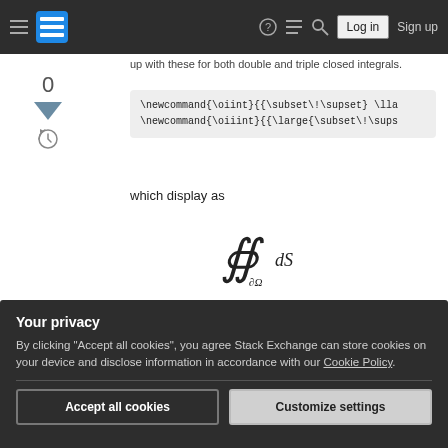Stack Exchange navigation bar with hamburger menu, logo, help, chat, search, Log in, Sign up
up with these for both double and triple closed integrals.
[Figure (screenshot): Vote score of 0, downvote arrow, and history icon in the left sidebar]
\newcommand{\oiint}{{\subset\!\supset} \lla
\newcommand{\oiiint}{{\large{\subset\!\sups
which display as
and
Your privacy
By clicking "Accept all cookies", you agree Stack Exchange can store cookies on your device and disclose information in accordance with our Cookie Policy.
Accept all cookies
Customize settings